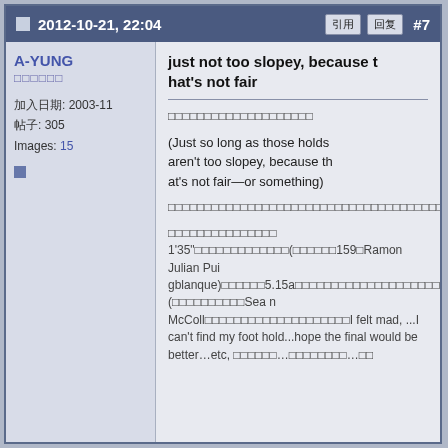2012-10-21, 22:04  #7
A-YUNG
加入日期: 2003-11
帖子: 305
Images: 15
just not too slopey, because that's not fair
(Chinese text block 1)
(Just so long as those holds aren't too slopey, because that's not fair—or something)
(Chinese text block 2 — long paragraph)
(Chinese text block 3 with 1'35" mention and Ramon Julian Puigblanque and 5.15a and 1996 and UIAA and Sean McColl quote: I felt mad, ...I can't find my foot hold...hope the final would be better…etc)